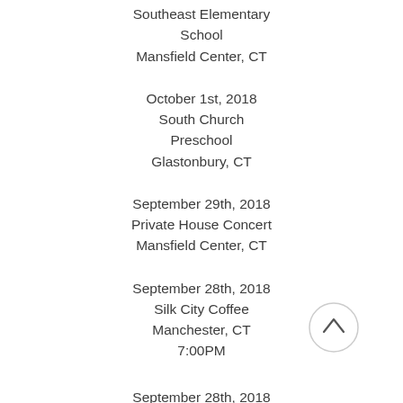Southeast Elementary School
Mansfield Center, CT
October 1st, 2018
South Church Preschool
Glastonbury, CT
September 29th, 2018
Private House Concert
Mansfield Center, CT
September 28th, 2018
Silk City Coffee
Manchester, CT
7:00PM
September 28th, 2018
Mansfield Senior